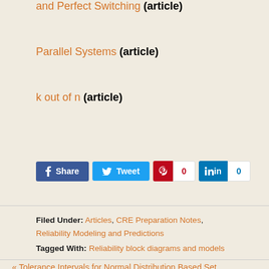and Perfect Switching (article)
Parallel Systems (article)
k out of n (article)
[Figure (other): Social sharing buttons: Facebook Share, Twitter Tweet, Pinterest with count 0, LinkedIn with count 0]
Filed Under: Articles, CRE Preparation Notes, Reliability Modeling and Predictions
Tagged With: Reliability block diagrams and models
« Tolerance Intervals for Normal Distribution Based Set